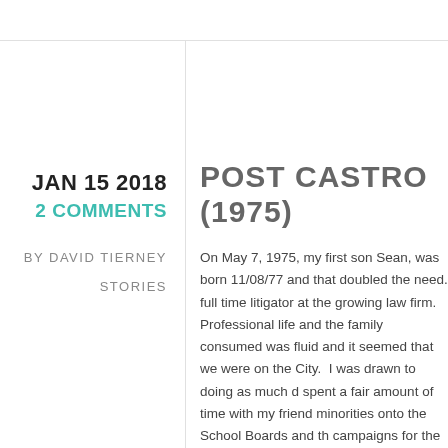JAN 15 2018
2 COMMENTS
BY DAVID TIERNEY
STORIES
POST CASTRO (1975)
On May 7, 1975, my first son Sean, was born 11/08/77 and that doubled the need. full time litigator at the growing law firm. Professional life and the family consumed was fluid and it seemed that we were on the City. I was drawn to doing as much spent a fair amount of time with my friend minorities onto the School Boards and the campaigns for the City Council, his work the City. My wife, Susan, was teaching a which she taught was under fire from community. We both spent some time in the program. Susan stopped teaching once